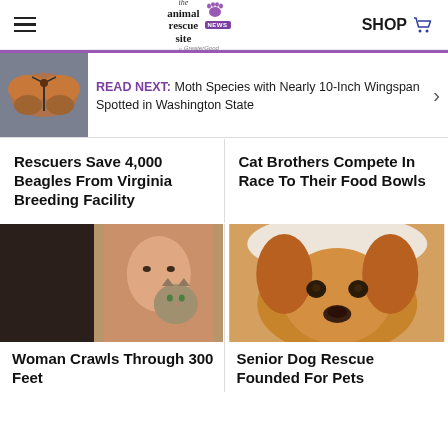the animal rescue site · news — SHOP
READ NEXT: Moth Species with Nearly 10-Inch Wingspan Spotted in Washington State
Rescuers Save 4,000 Beagles From Virginia Breeding Facility
Cat Brothers Compete In Race To Their Food Bowls
[Figure (photo): Woman holding a kitten, split with a dark interior image]
Woman Crawls Through 300 Feet
[Figure (photo): Golden/brown dog lying down looking at camera under blanket]
Senior Dog Rescue Founded For Pets